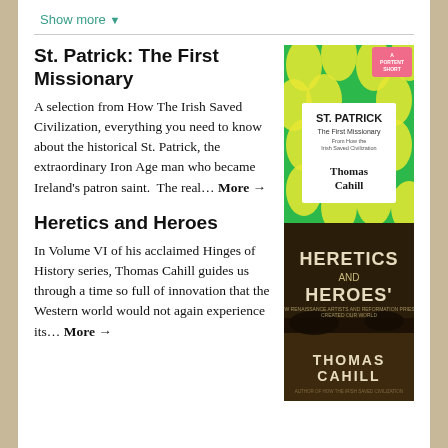Show more ▼
St. Patrick: The First Missionary
A selection from How The Irish Saved Civilization, everything you need to know about the historical St. Patrick, the extraordinary Iron Age man who became Ireland's patron saint.  The real… More →
Heretics and Heroes
In Volume VI of his acclaimed Hinges of History series, Thomas Cahill guides us through a time so full of innovation that the Western world would not again experience its… More →
[Figure (illustration): Two book covers stacked vertically: top is 'St. Patrick: The First Missionary' by Thomas Cahill with green and yellow swirl pattern cover; bottom is 'Heretics and Heroes' by Thomas Cahill with dark dramatic cover.]